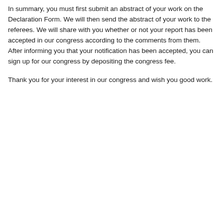In summary, you must first submit an abstract of your work on the Declaration Form. We will then send the abstract of your work to the referees. We will share with you whether or not your report has been accepted in our congress according to the comments from them. After informing you that your notification has been accepted, you can sign up for our congress by depositing the congress fee.
Thank you for your interest in our congress and wish you good work.